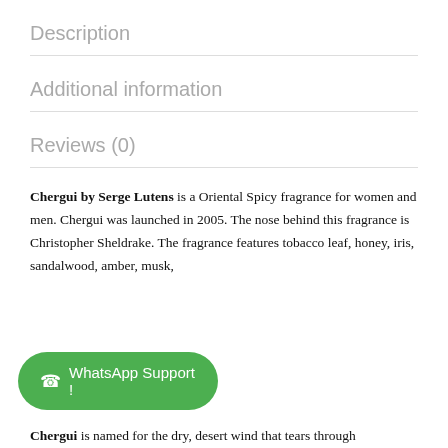Description
Additional information
Reviews (0)
Chergui by Serge Lutens is a Oriental Spicy fragrance for women and men. Chergui was launched in 2005. The nose behind this fragrance is Christopher Sheldrake. The fragrance features tobacco leaf, honey, iris, sandalwood, amber, musk,
Chergui is named for the dry, desert wind that tears through